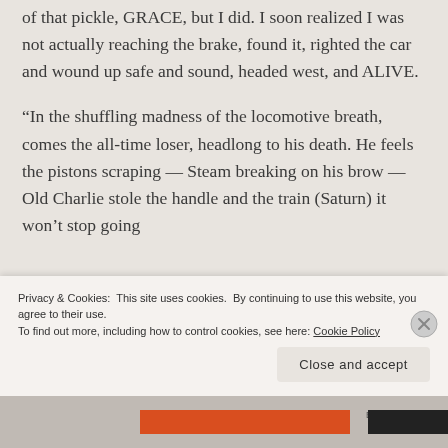of that pickle, GRACE, but I did. I soon realized I was not actually reaching the brake, found it, righted the car and wound up safe and sound, headed west, and ALIVE.
“In the shuffling madness of the locomotive breath, comes the all-time loser, headlong to his death. He feels the pistons scraping — Steam breaking on his brow — Old Charlie stole the handle and the train (Saturn) it won’t stop going
Privacy & Cookies: This site uses cookies. By continuing to use this website, you agree to their use.
To find out more, including how to control cookies, see here: Cookie Policy
Close and accept